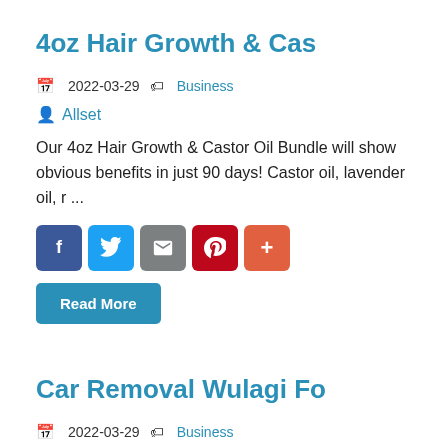4oz Hair Growth & Cas
2022-03-29  Business
Allset
Our 4oz Hair Growth & Castor Oil Bundle will show obvious benefits in just 90 days! Castor oil, lavender oil, r ...
[Figure (other): Social share buttons: Facebook, Twitter, Email, Pinterest, Plus]
Read More
Car Removal Wulagi Fo
2022-03-29  Business